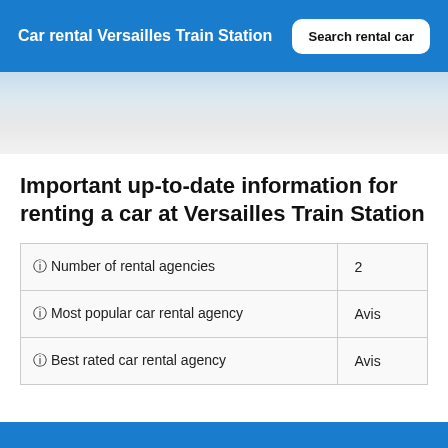Car rental Versailles Train Station
Important up-to-date information for renting a car at Versailles Train Station
|  |  |
| --- | --- |
| 🛈 Number of rental agencies | 2 |
| 🛈 Most popular car rental agency | Avis |
| 🛈 Best rated car rental agency | Avis |